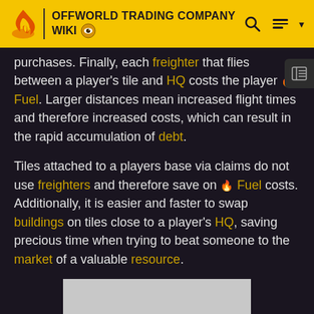OFFWORLD TRADING COMPANY WIKI
purchases. Finally, each freighter that flies between a player's tile and HQ costs the player 🔥 Fuel. Larger distances mean increased flight times and therefore increased costs, which can result in the rapid accumulation of debt.
Tiles attached to a players base via claims do not use freighters and therefore save on 🔥 Fuel costs. Additionally, it is easier and faster to swap buildings on tiles close to a player's HQ, saving precious time when trying to beat someone to the market of a valuable resource.
[Figure (other): Gray rectangular image placeholder at the bottom of the page]